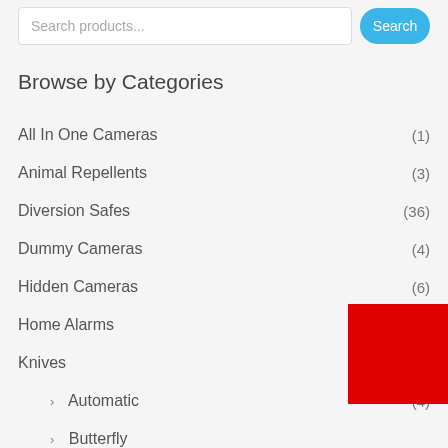Search products...
Browse by Categories
All In One Cameras (1)
Animal Repellents (3)
Diversion Safes (36)
Dummy Cameras (4)
Hidden Cameras (6)
Home Alarms (4)
Knives (53)
> Automatic (4)
> Butterfly
> Disguised
> Folding Knives (30)